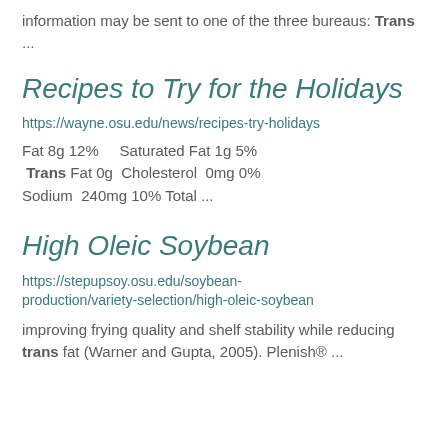information may be sent to one of the three bureaus: Trans ...
Recipes to Try for the Holidays
https://wayne.osu.edu/news/recipes-try-holidays
Fat 8g 12%     Saturated Fat 1g 5%  Trans Fat 0g   Cholesterol  0mg 0% Sodium  240mg 10% Total ...
High Oleic Soybean
https://stepupsoy.osu.edu/soybean-production/variety-selection/high-oleic-soybean
improving frying quality and shelf stability while reducing trans fat (Warner and Gupta, 2005). Plenish® ...